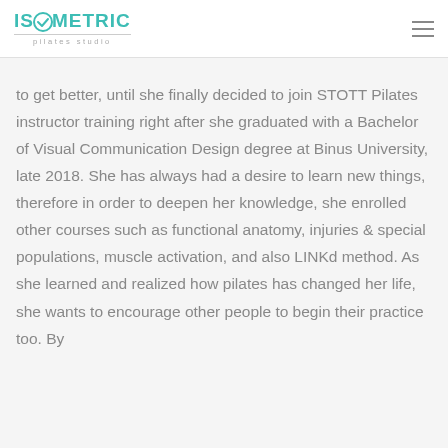ISOMETRIC pilates studio
to get better, until she finally decided to join STOTT Pilates instructor training right after she graduated with a Bachelor of Visual Communication Design degree at Binus University, late 2018. She has always had a desire to learn new things, therefore in order to deepen her knowledge, she enrolled other courses such as functional anatomy, injuries & special populations, muscle activation, and also LINKd method. As she learned and realized how pilates has changed her life, she wants to encourage other people to begin their practice too. By